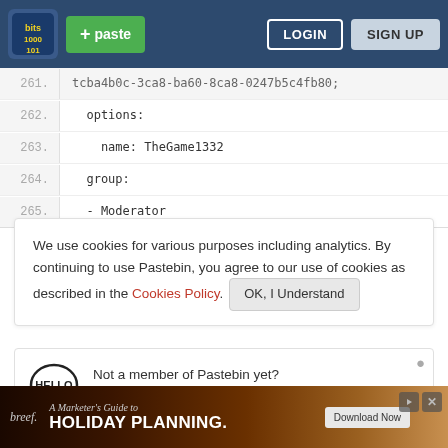Pastebin navigation bar with logo, paste button, login and sign up buttons
261.  tcba4b0c-3ca8-ba60-8ca8-0247b5c4fb80;
262.  options:
263.    name: TheGame1332
264.  group:
265.  - Moderator
We use cookies for various purposes including analytics. By continuing to use Pastebin, you agree to our use of cookies as described in the Cookies Policy. OK, I Understand
Not a member of Pastebin yet? Sign Up, it unlocks many cool features!
[Figure (illustration): Advertisement banner for breef - A Marketer's Guide to Holiday Planning with Download Now button]